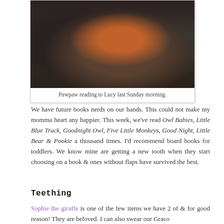[Figure (photo): A photo of Pawpaw reading to Lucy, showing an adult holding a book with a baby/toddler on their lap, in a darkened room.]
Pawpaw reading to Lucy last Sunday morning.
We have future books nerds on our hands. This could not make my momma heart any happier. This week, we've read Owl Babies, Little Blue Truck, Goodnight Owl, Five Little Monkeys, Good Night, Little Bear & Pookie a thousand times. I'd recommend board books for toddlers. We know mine are getting a new tooth when they start choosing on a book & ones without flaps have survived the best.
Teething
Sophie the giraffe is one of the few items we have 2 of & for good reason! They are beloved. I can also swear our Graco…